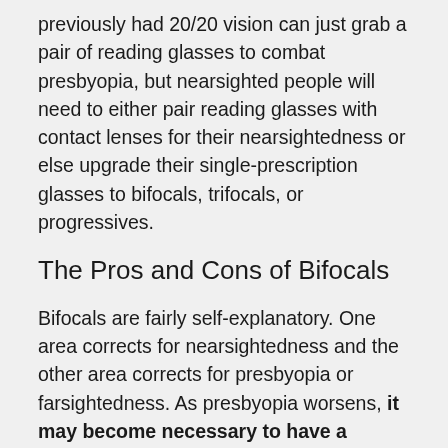previously had 20/20 vision can just grab a pair of reading glasses to combat presbyopia, but nearsighted people will need to either pair reading glasses with contact lenses for their nearsightedness or else upgrade their single-prescription glasses to bifocals, trifocals, or progressives.
The Pros and Cons of Bifocals
Bifocals are fairly self-explanatory. One area corrects for nearsightedness and the other area corrects for presbyopia or farsightedness. As presbyopia worsens, it may become necessary to have a middle range for things like reading a computer screen, which is where trifocals come in. They are a simple, effective solution, but not without their flaws.
The hard line between the prescription sections can be very jarring and create an image jump effect in the wearer's field of vision. And just as having